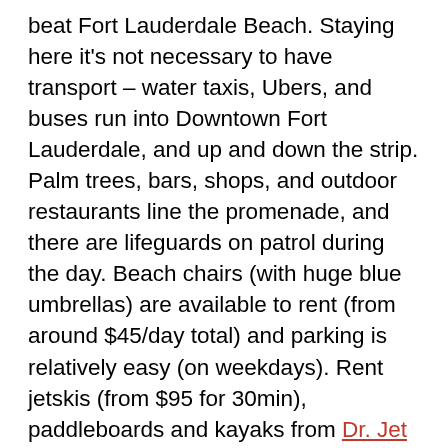beat Fort Lauderdale Beach. Staying here it's not necessary to have transport – water taxis, Ubers, and buses run into Downtown Fort Lauderdale, and up and down the strip. Palm trees, bars, shops, and outdoor restaurants line the promenade, and there are lifeguards on patrol during the day. Beach chairs (with huge blue umbrellas) are available to rent (from around $45/day total) and parking is relatively easy (on weekdays). Rent jetskis (from $95 for 30min), paddleboards and kayaks from Dr. Jet Ski.
Best Neighborhood for Food and